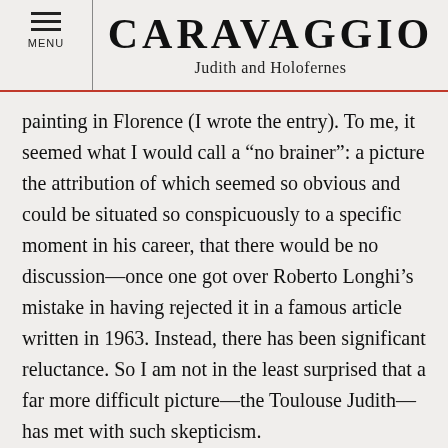CARAVAGGIO
Judith and Holofernes
painting in Florence (I wrote the entry). To me, it seemed what I would call a “no brainer”: a picture the attribution of which seemed so obvious and could be situated so conspicuously to a specific moment in his career, that there would be no discussion—once one got over Roberto Longhi’s mistake in having rejected it in a famous article written in 1963. Instead, there has been significant reluctance. So I am not in the least surprised that a far more difficult picture—the Toulouse Judith—has met with such skepticism.
To my way of thinking, art history and art